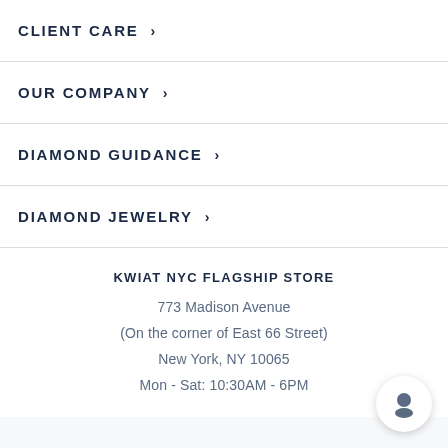CLIENT CARE
OUR COMPANY
DIAMOND GUIDANCE
DIAMOND JEWELRY
KWIAT NYC FLAGSHIP STORE
773 Madison Avenue
(On the corner of East 66 Street)
New York, NY 10065
Mon - Sat: 10:30AM - 6PM